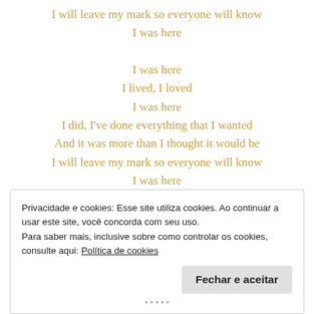I will leave my mark so everyone will know
I was here

I was here
I lived, I loved
I was here
I did, I've done everything that I wanted
And it was more than I thought it would be
I will leave my mark so everyone will know
I was here
Privacidade e cookies: Esse site utiliza cookies. Ao continuar a usar este site, você concorda com seu uso.
Para saber mais, inclusive sobre como controlar os cookies, consulte aqui: Política de cookies

Fechar e aceitar